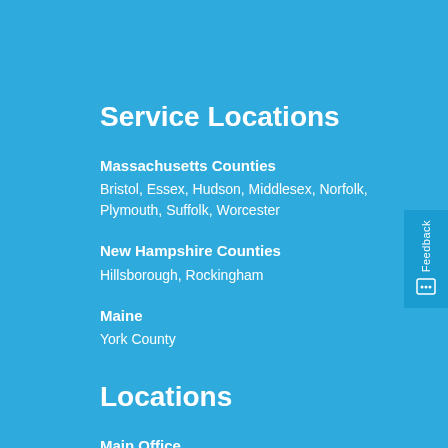Service Locations
Massachusetts Counties
Bristol, Essex, Hudson, Middlesex, Norfolk, Plymouth, Suffolk, Worcester
New Hampshire Counties
Hillsborough, Rockingham
Maine
York County
Locations
Main Office
18 Lonergan Road